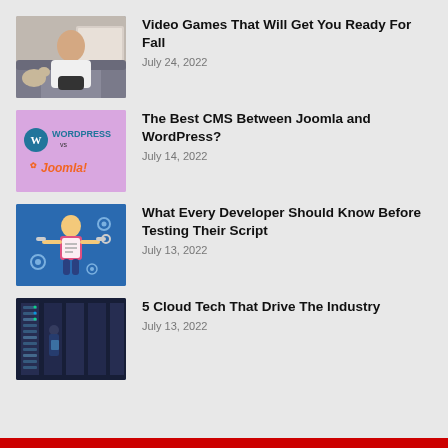[Figure (photo): Person playing video games on a couch with a dog]
Video Games That Will Get You Ready For Fall
July 24, 2022
[Figure (logo): WordPress vs Joomla logo on purple background]
The Best CMS Between Joomla and WordPress?
July 14, 2022
[Figure (illustration): Developer character with tools on blue background]
What Every Developer Should Know Before Testing Their Script
July 13, 2022
[Figure (photo): Person in dark server room with cloud tech equipment]
5 Cloud Tech That Drive The Industry
July 13, 2022